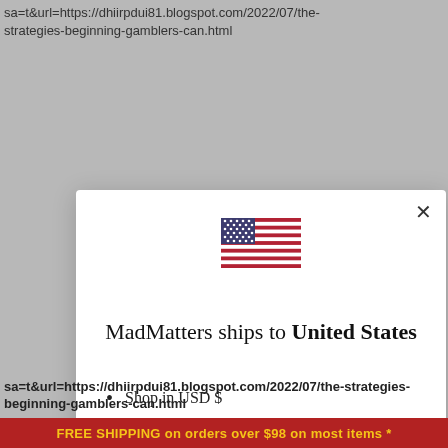sa=t&url=https://dhiirpdui81.blogspot.com/2022/07/the-strategies-beginning-gamblers-can.html
[Figure (screenshot): Modal dialog popup on a website showing a US flag emoji, text 'MadMatters ships to United States', bullet points 'Shop in USD $' and 'Get shipping options for United States', a black 'Shop now' button, and a 'Change shipping country' link]
sa=t&url=https://dhiirpdui81.blogspot.com/2022/07/the-strategies-beginning-gamblers-can.html
FREE SHIPPING on orders over $98 on most items *